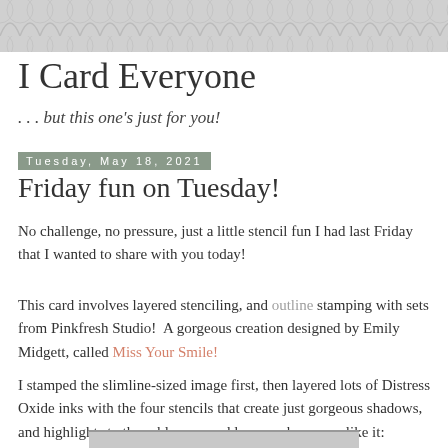[Figure (illustration): Decorative scallop/fish-scale pattern header background in light gray]
I Card Everyone
. . . but this one's just for you!
Tuesday, May 18, 2021
Friday fun on Tuesday!
No challenge, no pressure, just a little stencil fun I had last Friday that I wanted to share with you today!
This card involves layered stenciling, and outline stamping with sets from Pinkfresh Studio!  A gorgeous creation designed by Emily Midgett, called Miss Your Smile!
I stamped the slimline-sized image first, then layered lots of Distress Oxide inks with the four stencils that create just gorgeous shadows, and highlights to these blooms, and leaves... hope you like it:
[Figure (photo): Partial preview of a card image at the bottom of the page]